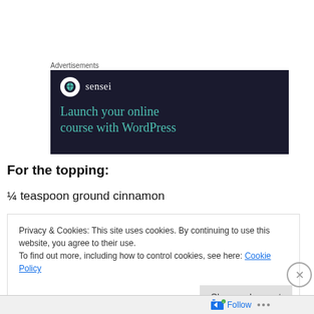Advertisements
[Figure (screenshot): Sensei advertisement banner with dark navy background. Shows Sensei logo (tree icon in white circle) with brand name, and teal text reading 'Launch your online course with WordPress']
For the topping:
¼ teaspoon ground cinnamon
Privacy & Cookies: This site uses cookies. By continuing to use this website, you agree to their use.
To find out more, including how to control cookies, see here: Cookie Policy
Close and accept